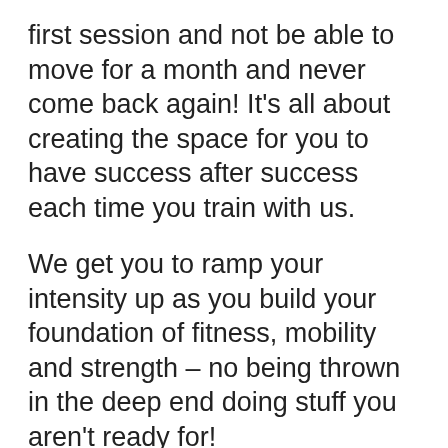first session and not be able to move for a month and never come back again! It's all about creating the space for you to have success after success each time you train with us.
We get you to ramp your intensity up as you build your foundation of fitness, mobility and strength – no being thrown in the deep end doing stuff you aren't ready for!
One of the best things about having a coach is that there is someone there to make sure you are pushing